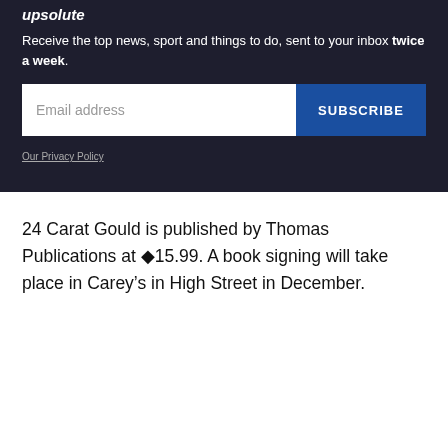Receive the top news, sport and things to do, sent to your inbox twice a week.
[Figure (other): Email subscription form with email address input field and SUBSCRIBE button]
Our Privacy Policy
24 Carat Gould is published by Thomas Publications at ◆15.99. A book signing will take place in Carey’s in High Street in December.